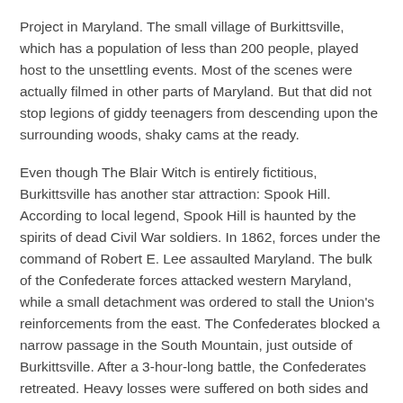Project in Maryland. The small village of Burkittsville, which has a population of less than 200 people, played host to the unsettling events. Most of the scenes were actually filmed in other parts of Maryland. But that did not stop legions of giddy teenagers from descending upon the surrounding woods, shaky cams at the ready.
Even though The Blair Witch is entirely fictitious, Burkittsville has another star attraction: Spook Hill. According to local legend, Spook Hill is haunted by the spirits of dead Civil War soldiers. In 1862, forces under the command of Robert E. Lee assaulted Maryland. The bulk of the Confederate forces attacked western Maryland, while a small detachment was ordered to stall the Union's reinforcements from the east. The Confederates blocked a narrow passage in the South Mountain, just outside of Burkittsville. After a 3-hour-long battle, the Confederates retreated. Heavy losses were suffered on both sides and thousands more were injured. "Every house had to have six or seven wounded and when they died they had to be dragged out and put into the fields. Well, spook stories are going to come out of that," explained Paul Gilligan, the village's former mayor.